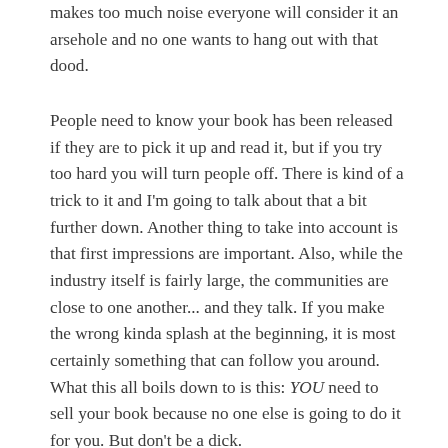makes too much noise everyone will consider it an arsehole and no one wants to hang out with that dood.
People need to know your book has been released if they are to pick it up and read it, but if you try too hard you will turn people off. There is kind of a trick to it and I'm going to talk about that a bit further down. Another thing to take into account is that first impressions are important. Also, while the industry itself is fairly large, the communities are close to one another... and they talk. If you make the wrong kinda splash at the beginning, it is most certainly something that can follow you around. What this all boils down to is this: YOU need to sell your book because no one else is going to do it for you. But don't be a dick.